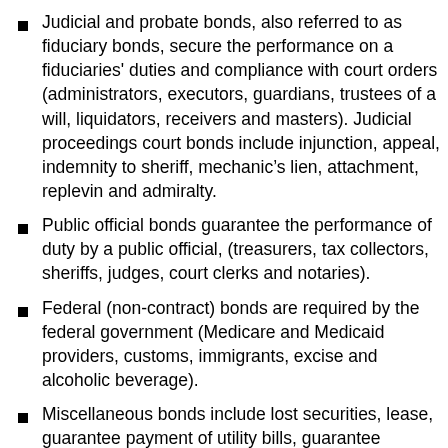Judicial and probate bonds, also referred to as fiduciary bonds, secure the performance on a fiduciaries' duties and compliance with court orders (administrators, executors, guardians, trustees of a will, liquidators, receivers and masters). Judicial proceedings court bonds include injunction, appeal, indemnity to sheriff, mechanic's lien, attachment, replevin and admiralty.
Public official bonds guarantee the performance of duty by a public official, (treasurers, tax collectors, sheriffs, judges, court clerks and notaries).
Federal (non-contract) bonds are required by the federal government (Medicare and Medicaid providers, customs, immigrants, excise and alcoholic beverage).
Miscellaneous bonds include lost securities, lease, guarantee payment of utility bills, guarantee employer contributions for pension funds, after school bonds.